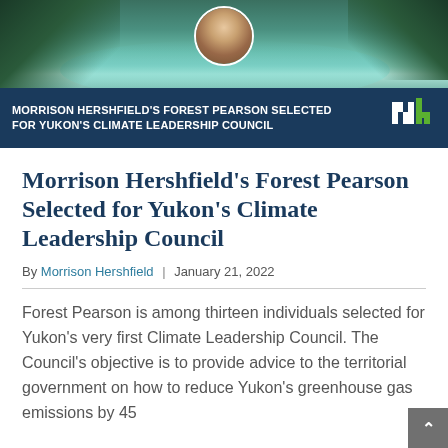[Figure (photo): Header image showing aerial view of turquoise lake and forested landscape with circular portrait photo of Forest Pearson overlaid at top center]
MORRISON HERSHFIELD'S FOREST PEARSON SELECTED FOR YUKON'S CLIMATE LEADERSHIP COUNCIL
Morrison Hershfield's Forest Pearson Selected for Yukon's Climate Leadership Council
By Morrison Hershfield | January 21, 2022
Forest Pearson is among thirteen individuals selected for Yukon's very first Climate Leadership Council. The Council's objective is to provide advice to the territorial government on how to reduce Yukon's greenhouse gas emissions by 45